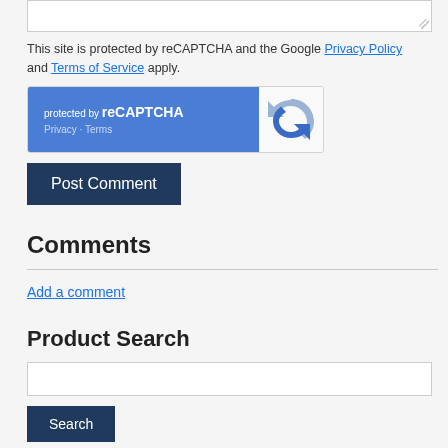[Figure (screenshot): Textarea input box (empty) with resize handle at bottom right]
This site is protected by reCAPTCHA and the Google Privacy Policy and Terms of Service apply.
[Figure (screenshot): reCAPTCHA widget with blue left panel showing 'protected by reCAPTCHA' text and Privacy · Terms links, and white right panel with reCAPTCHA logo]
[Figure (screenshot): Post Comment button (dark blue)]
Comments
Add a comment
Product Search
[Figure (screenshot): Search input box (empty)]
[Figure (screenshot): Search button (dark blue)]